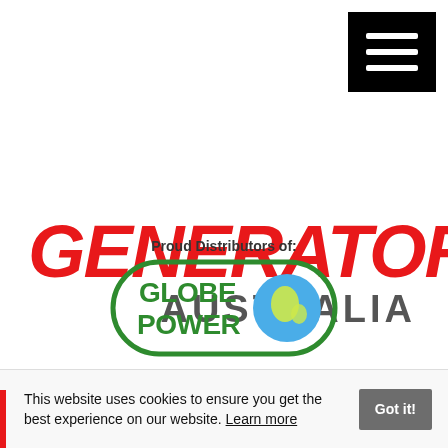[Figure (logo): Hamburger menu icon (three white horizontal lines on black background), top-right corner]
[Figure (logo): Generators Australia logo: GENERATORS in large bold italic red text, AUSTRALIA in bold grey below]
Proud Distributors of:
[Figure (logo): Globe Power logo: green rounded rectangle border with GLOBE POWER text in green and a globe icon]
Call +61 8 6258 4195
[Figure (logo): Facebook and LinkedIn social media icons side by side on blue background]
This website uses cookies to ensure you get the best experience on our website. Learn more